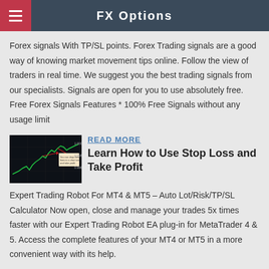FX Options
Forex signals With TP/SL points. Forex Trading signals are a good way of knowing market movement tips online. Follow the view of traders in real time. We suggest you the best trading signals from our specialists. Signals are open for you to use absolutely free. Free Forex Signals Features * 100% Free Signals without any usage limit
[Figure (screenshot): Trading chart screenshot showing candlestick/line chart with green upward trend and red annotations on dark background]
READ MORE
Learn How to Use Stop Loss and Take Profit
Expert Trading Robot For MT4 & MT5 – Auto Lot/Risk/TP/SL Calculator Now open, close and manage your trades 5x times faster with our Expert Trading Robot EA plug-in for MetaTrader 4 & 5. Access the complete features of your MT4 or MT5 in a more convenient way with its help.